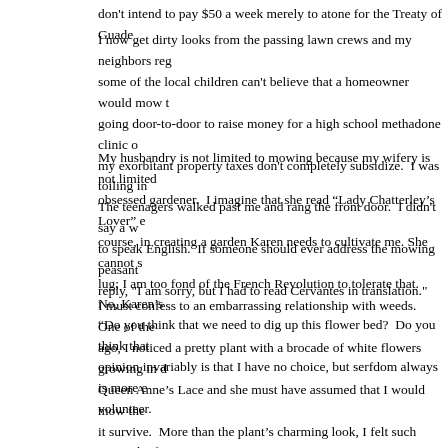don't intend to pay $50 a week merely to atone for the Treaty of Guade...
I now get dirty looks from the passing lawn crews and my neighbors re... some of the local children can't believe that a homeowner would mow t... going door-to-door to raise money for a high school methadone clinic o... my exorbitant property taxes don't completely subsidize. I was toiling i... The teenagers walked past me and rang the front door. I didn't say a w... to speak English. If someone should ever address the mowing peasan... reply, "I am sorry, but I had to read Cervantes in translation."
My husbandry is not limited to mowing because my wifery is not limited... obsessed gardener. I imagine that she read "Lady Chatterley's Lover" c... course, in creating a garden Karen needs to cultivate me. She cannot s... lug; I am too fond of the French Revolution to tolerate that. No, Karen's... "Do you think that we need to dig up this flower bed? Do you think that... opinion invariably is that I have no choice, but serfdom always is more e... volunteer.
I must confess to an embarrassing relationship with weeds. One of the... ago, I noticed a pretty plant with a brocade of white flowers growing in d... Queen Anne's Lace and she must have assumed that I would mow the... it survive. More than the plant's charming look, I felt such sympathy fo... Stuarts usually were stupid but attractive: imagine a dynasty cast by Aa... was begrudged the good looks and cheated in every other way too. T...